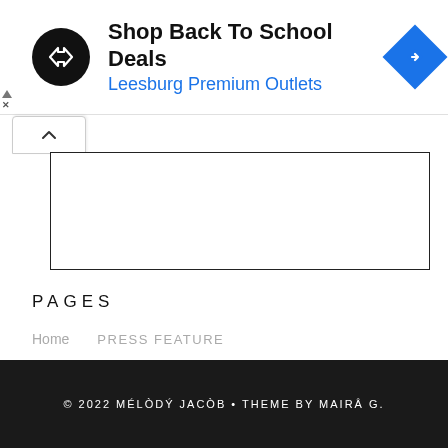[Figure (screenshot): Advertisement banner: black circle logo with overlapping arrows, bold text 'Shop Back To School Deals', blue text 'Leesburg Premium Outlets', blue diamond navigation icon on the right, small play/close icons on the left]
PAGES
Home
PRESS FEATURE
© 2022 MÉLÒDÝ JACÒB • THEME BY MAIRÂ G.